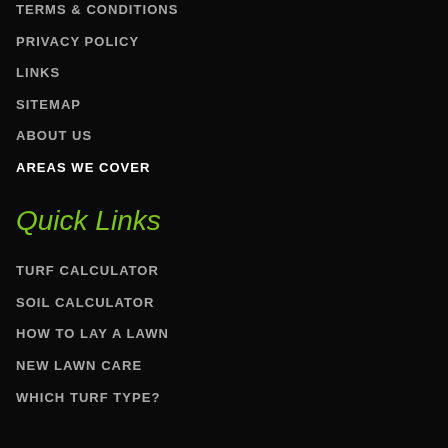TERMS & CONDITIONS
PRIVACY POLICY
LINKS
SITEMAP
ABOUT US
AREAS WE COVER
Quick Links
TURF CALCULATOR
SOIL CALCULATOR
HOW TO LAY A LAWN
NEW LAWN CARE
WHICH TURF TYPE?